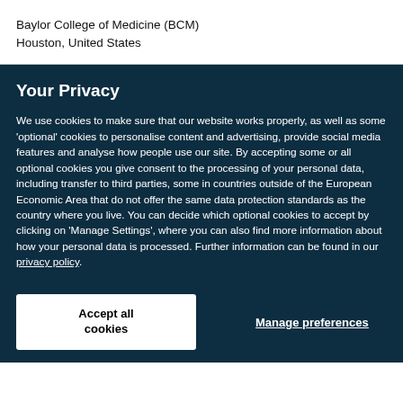Baylor College of Medicine (BCM)
Houston, United States
Your Privacy
We use cookies to make sure that our website works properly, as well as some ‘optional’ cookies to personalise content and advertising, provide social media features and analyse how people use our site. By accepting some or all optional cookies you give consent to the processing of your personal data, including transfer to third parties, some in countries outside of the European Economic Area that do not offer the same data protection standards as the country where you live. You can decide which optional cookies to accept by clicking on ‘Manage Settings’, where you can also find more information about how your personal data is processed. Further information can be found in our privacy policy.
Accept all cookies
Manage preferences